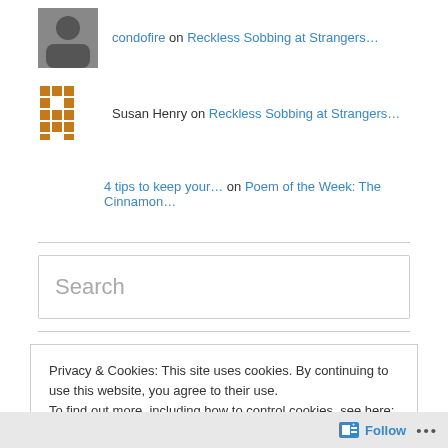condofire on Reckless Sobbing at Strangers…
Susan Henry on Reckless Sobbing at Strangers…
4 tips to keep your… on Poem of the Week: The Cinnamon…
Search
Privacy & Cookies: This site uses cookies. By continuing to use this website, you agree to their use.
To find out more, including how to control cookies, see here: Cookie Policy
Close and accept
Follow …